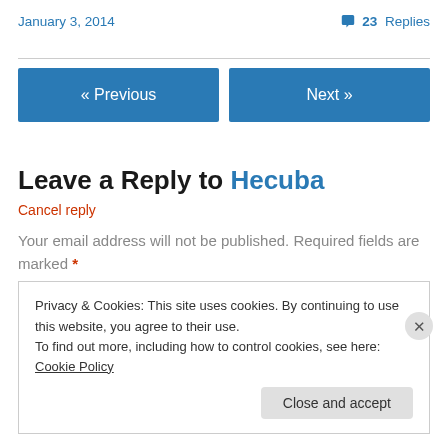January 3, 2014    💬 23 Replies
« Previous    Next »
Leave a Reply to Hecuba
Cancel reply
Your email address will not be published. Required fields are marked *
Privacy & Cookies: This site uses cookies. By continuing to use this website, you agree to their use.
To find out more, including how to control cookies, see here: Cookie Policy
Close and accept